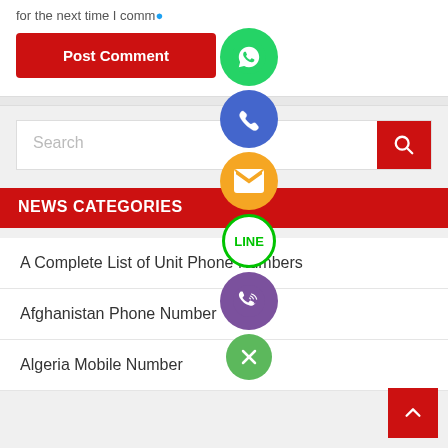for the next time I comm...
Post Comment
[Figure (screenshot): Search bar with red search button and magnifying glass icon]
NEWS CATEGORIES
A Complete List of Unit Phone Numbers
Afghanistan Phone Number
Algeria Mobile Number
[Figure (infographic): Vertical stack of social media floating action buttons: WhatsApp (green), Phone (blue), Email (orange), LINE (white/green), Viber (purple), Close (green X)]